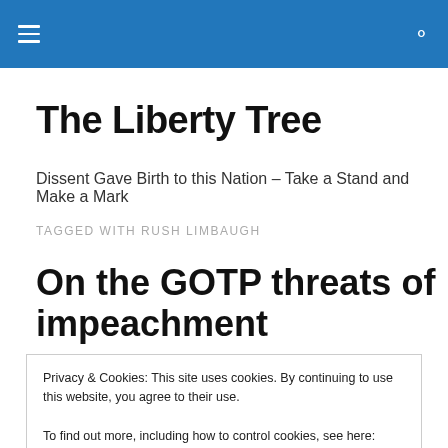[hamburger menu] The Liberty Tree [search icon]
The Liberty Tree
Dissent Gave Birth to this Nation – Take a Stand and Make a Mark
TAGGED WITH RUSH LIMBAUGH
On the GOTP threats of impeachment
Privacy & Cookies: This site uses cookies. By continuing to use this website, you agree to their use.
To find out more, including how to control cookies, see here: Cookie Policy
[Close and accept button]
the mouth, rabidly wanting to see the President removed